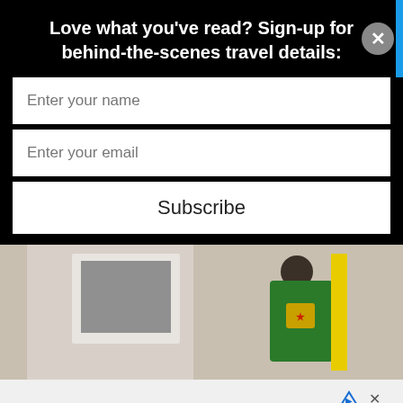Love what you've read? Sign-up for behind-the-scenes travel details:
Enter your name
Enter your email
Subscribe
[Figure (photo): Partial photo showing a person holding a green and yellow bag/jersey on a sandy background]
cy & Cookies: This site uses cookies. By continuing to use this
ite, you agree to their use.
Ashburn  OPEN  8AM–8PM
44110 Ashburn Shopping Plaza 190, A..